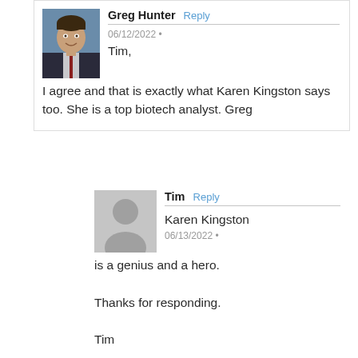Greg Hunter Reply
06/12/2022 •
Tim,
I agree and that is exactly what Karen Kingston says too. She is a top biotech analyst.
Greg
Tim Reply
06/13/2022 •
Karen Kingston is a genius and a hero.

Thanks for responding.

Tim